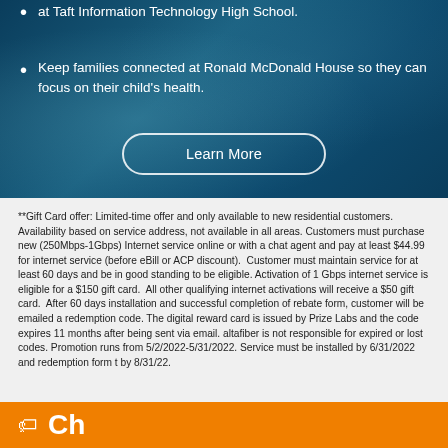at Taft Information Technology High School.
Keep families connected at Ronald McDonald House so they can focus on their child's health.
Learn More
**Gift Card offer: Limited-time offer and only available to new residential customers. Availability based on service address, not available in all areas. Customers must purchase new (250Mbps-1Gbps) Internet service online or with a chat agent and pay at least $44.99 for internet service (before eBill or ACP discount).  Customer must maintain service for at least 60 days and be in good standing to be eligible. Activation of 1 Gbps internet service is eligible for a $150 gift card.  All other qualifying internet activations will receive a $50 gift card.  After 60 days installation and successful completion of rebate form, customer will be emailed a redemption code. The digital reward card is issued by Prize Labs and the code expires 11 months after being sent via email. altafiber is not responsible for expired or lost codes. Promotion runs from 5/2/2022-5/31/2022. Service must be installed by 6/31/2022 and redemption form t by 8/31/22.